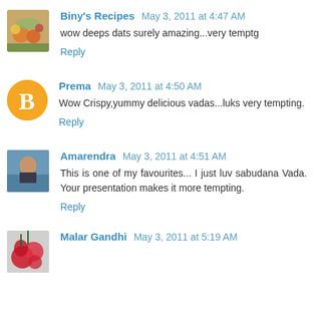[Figure (photo): Avatar image for Biny's Recipes - food photo with spices and ingredients]
Biny's Recipes May 3, 2011 at 4:47 AM
wow deeps dats surely amazing...very temptg
Reply
[Figure (logo): Blogger orange circle avatar with white B letter for Prema]
Prema May 3, 2011 at 4:50 AM
Wow Crispy,yummy delicious vadas...luks very tempting.
Reply
[Figure (photo): Avatar photo of Amarendra - person in a pool or outdoor setting]
Amarendra May 3, 2011 at 4:51 AM
This is one of my favourites... I just luv sabudana Vada. Your presentation makes it more tempting.
Reply
[Figure (photo): Avatar photo of Malar Gandhi - red roses]
Malar Gandhi May 3, 2011 at 5:19 AM